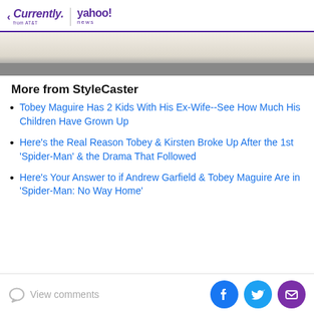Currently from AT&T | yahoo! news
[Figure (photo): Partial image visible at top of article content area]
More from StyleCaster
Tobey Maguire Has 2 Kids With His Ex-Wife--See How Much His Children Have Grown Up
Here's the Real Reason Tobey & Kirsten Broke Up After the 1st 'Spider-Man' & the Drama That Followed
Here's Your Answer to if Andrew Garfield & Tobey Maguire Are in 'Spider-Man: No Way Home'
View comments